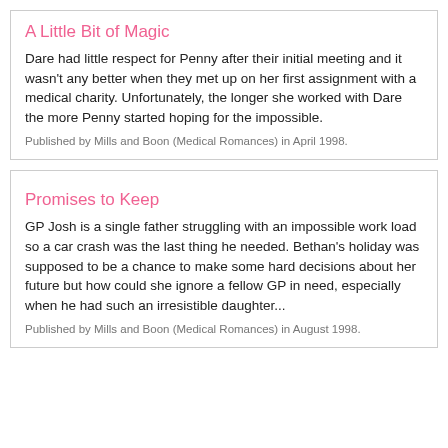A Little Bit of Magic
Dare had little respect for Penny after their initial meeting and it wasn't any better when they met up on her first assignment with a medical charity. Unfortunately, the longer she worked with Dare the more Penny started hoping for the impossible.
Published by Mills and Boon (Medical Romances) in April 1998.
Promises to Keep
GP Josh is a single father struggling with an impossible work load so a car crash was the last thing he needed. Bethan's holiday was supposed to be a chance to make some hard decisions about her future but how could she ignore a fellow GP in need, especially when he had such an irresistible daughter...
Published by Mills and Boon (Medical Romances) in August 1998.